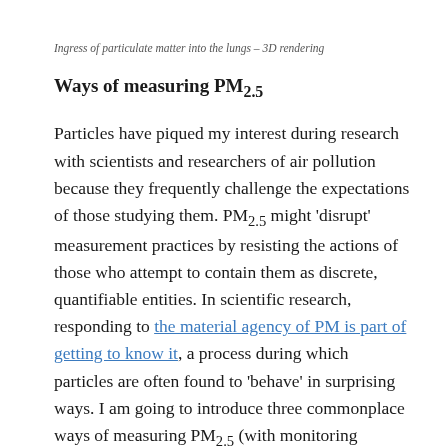Ingress of particulate matter into the lungs – 3D rendering
Ways of measuring PM2.5
Particles have piqued my interest during research with scientists and researchers of air pollution because they frequently challenge the expectations of those studying them. PM2.5 might 'disrupt' measurement practices by resisting the actions of those who attempt to contain them as discrete, quantifiable entities. In scientific research, responding to the material agency of PM is part of getting to know it, a process during which particles are often found to 'behave' in surprising ways. I am going to introduce three commonplace ways of measuring PM2.5 (with monitoring instruments, computer models and